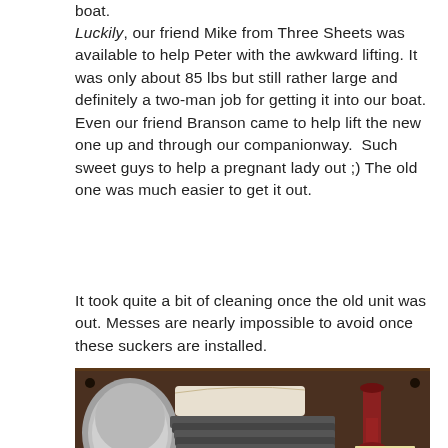boat.
Luckily, our friend Mike from Three Sheets was available to help Peter with the awkward lifting. It was only about 85 lbs but still rather large and definitely a two-man job for getting it into our boat. Even our friend Branson came to help lift the new one up and through our companionway. Such sweet guys to help a pregnant lady out ;) The old one was much easier to get it out.
It took quite a bit of cleaning once the old unit was out. Messes are nearly impossible to avoid once these suckers are installed.
[Figure (photo): Interior view of a boat cabinet/galley showing dishes, pots, and storage shelves with metallic surface visible below]